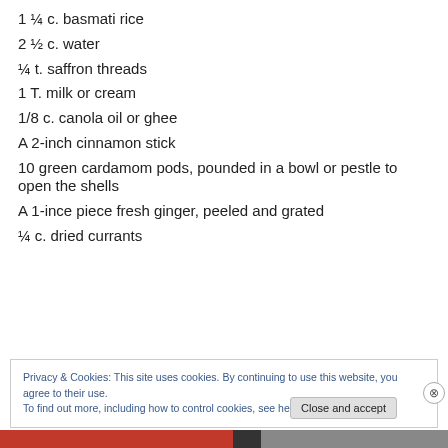1 ¼ c. basmati rice
2 ½ c. water
¼ t. saffron threads
1 T. milk or cream
1/8 c. canola oil or ghee
A 2-inch cinnamon stick
10 green cardamom pods, pounded in a bowl or pestle to open the shells
A 1-ince piece fresh ginger, peeled and grated
¼ c. dried currants
Privacy & Cookies: This site uses cookies. By continuing to use this website, you agree to their use.
To find out more, including how to control cookies, see here: Cookie Policy